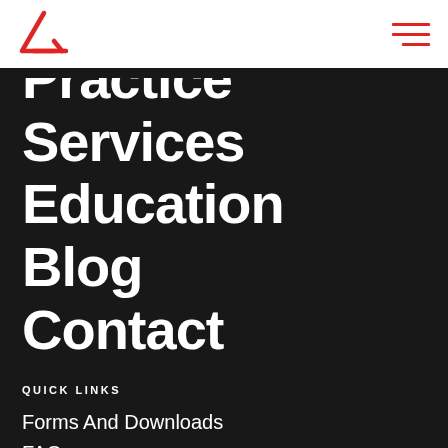[Figure (logo): Red triangle/arrow logo (Avant) in top left header]
[Figure (other): Hamburger menu icon with three red horizontal lines, top right header]
Practice
Services
Education
Blog
Contact
QUICK LINKS
Forms And Downloads
FAQs
Careers
Pay Your Bill